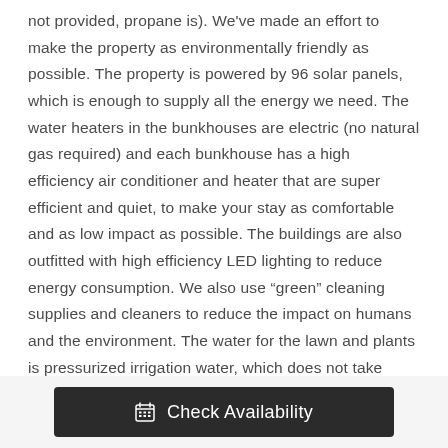not provided, propane is). We've made an effort to make the property as environmentally friendly as possible. The property is powered by 96 solar panels, which is enough to supply all the energy we need. The water heaters in the bunkhouses are electric (no natural gas required) and each bunkhouse has a high efficiency air conditioner and heater that are super efficient and quiet, to make your stay as comfortable and as low impact as possible. The buildings are also outfitted with high efficiency LED lighting to reduce energy consumption. We also use “green” cleaning supplies and cleaners to reduce the impact on humans and the environment. The water for the lawn and plants is pressurized irrigation water, which does not take away from the culinary drinking water in the area.
Check Availability